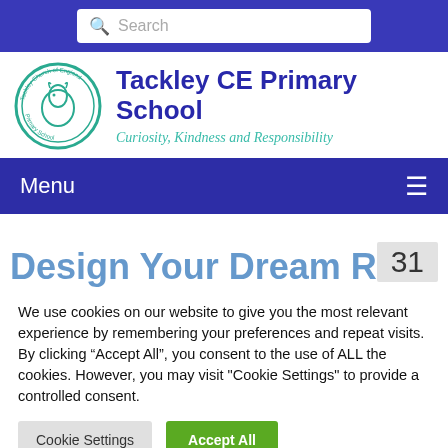Search
[Figure (logo): Tackley Church of England Primary School circular logo with a horse/deer illustration in teal/green]
Tackley CE Primary School
Curiosity, Kindness and Responsibility
Menu
Design Your Dream Room
31
We use cookies on our website to give you the most relevant experience by remembering your preferences and repeat visits. By clicking “Accept All”, you consent to the use of ALL the cookies. However, you may visit "Cookie Settings" to provide a controlled consent.
Cookie Settings
Accept All
Translate »